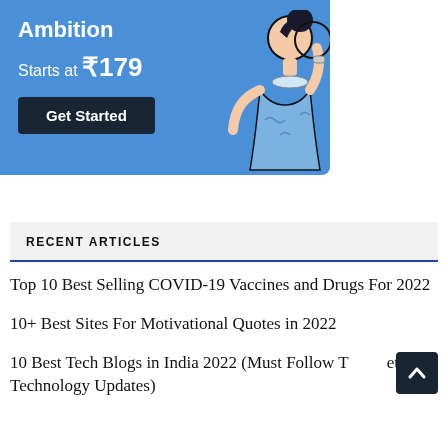[Figure (illustration): Blue promotional banner with text 'Ambition', 'Starts at ₹179', a 'Get Started' dark button, and an illustration of a woman in blue dress holding a circle on the right side.]
RECENT ARTICLES
Top 10 Best Selling COVID-19 Vaccines and Drugs For 2022
10+ Best Sites For Motivational Quotes in 2022
10 Best Tech Blogs in India 2022 (Must Follow To Get All Technology Updates)